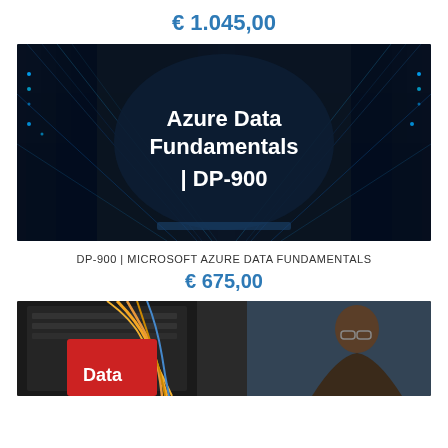€ 1.045,00
[Figure (photo): Data center server room with blue digital matrix overlay and dark rounded shape in center showing text 'Azure Data Fundamentals | DP-900']
DP-900 | MICROSOFT AZURE DATA FUNDAMENTALS
€ 675,00
[Figure (photo): Person in a data center with servers and fiber optic cables, partially visible 'Data' text on red card]